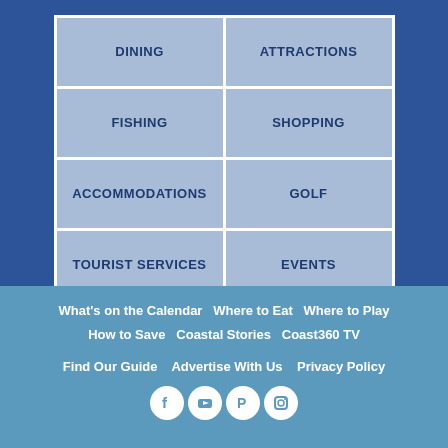[Figure (other): 2x4 grid menu with categories: DINING, ATTRACTIONS, FISHING, SHOPPING, ACCOMMODATIONS, GOLF, TOURIST SERVICES, EVENTS — all on blue/grey background tiles with dark blue border]
What's on the Calendar   Where to Eat   Where to Play   How to Save   Coastal Stories   Coast360 TV   Find Our Guide   Advertise With Us   Privacy Policy